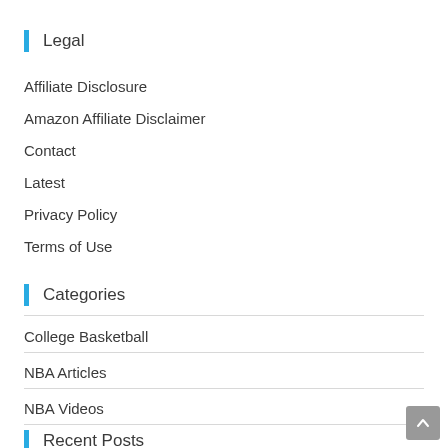Legal
Affiliate Disclosure
Amazon Affiliate Disclaimer
Contact
Latest
Privacy Policy
Terms of Use
Categories
College Basketball
NBA Articles
NBA Videos
Recent Posts